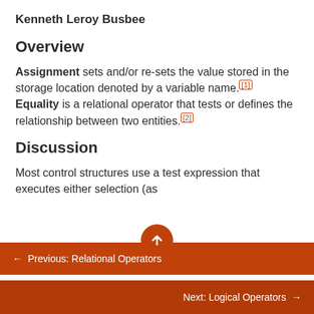Kenneth Leroy Busbee
Overview
Assignment sets and/or re-sets the value stored in the storage location denoted by a variable name.[1] Equality is a relational operator that tests or defines the relationship between two entities.[2]
Discussion
Most control structures use a test expression that executes either selection (as
← Previous: Relational Operators
Next: Logical Operators →